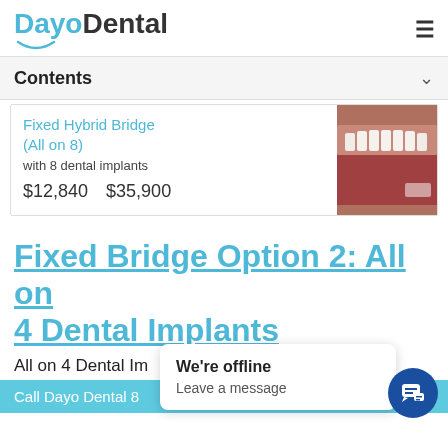[Figure (logo): DayoDental logo with smile arc underline]
Contents
Fixed Hybrid Bridge (All on 8)
with 8 dental implants
$12,840   $35,900
[Figure (photo): Close-up photo of dental implant teeth/gums]
Fixed Bridge Option 2: All on 4 Dental Implants
All on 4 Dental Im...
Call Dayo Dental 8...
We're offline
Leave a message